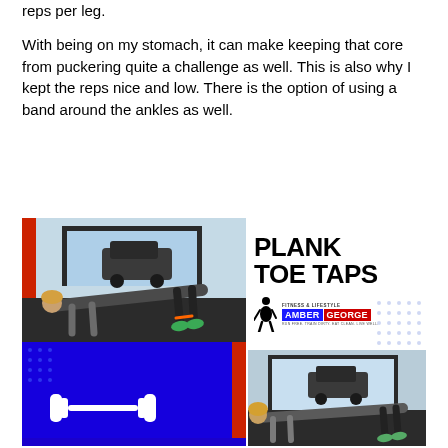reps per leg.
With being on my stomach, it can make keeping that core from puckering quite a challenge as well. This is also why I kept the reps nice and low. There is the option of using a band around the ankles as well.
[Figure (photo): Composite fitness image showing 'Plank Toe Taps' exercise. Top left: woman in plank position in a gym. Top right: white panel with bold text 'PLANK TOE TAPS' and Amber George Fitness & Lifestyle branding with silhouette logo. Bottom left: blue panel with white dumbbell icon. Bottom right: woman performing plank exercise in a gym setting.]